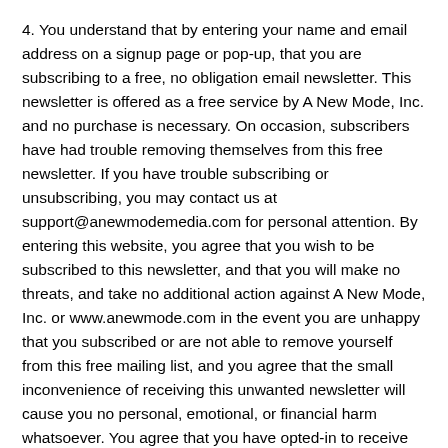4. You understand that by entering your name and email address on a signup page or pop-up, that you are subscribing to a free, no obligation email newsletter. This newsletter is offered as a free service by A New Mode, Inc. and no purchase is necessary. On occasion, subscribers have had trouble removing themselves from this free newsletter. If you have trouble subscribing or unsubscribing, you may contact us at support@anewmodemedia.com for personal attention. By entering this website, you agree that you wish to be subscribed to this newsletter, and that you will make no threats, and take no additional action against A New Mode, Inc. or www.anewmode.com in the event you are unhappy that you subscribed or are not able to remove yourself from this free mailing list, and you agree that the small inconvenience of receiving this unwanted newsletter will cause you no personal, emotional, or financial harm whatsoever. You agree that you have opted-in to receive our newsletter by providing your name and email address on our website. If you do not wish to receive our newsletter, simply click on the unsubscribe link at